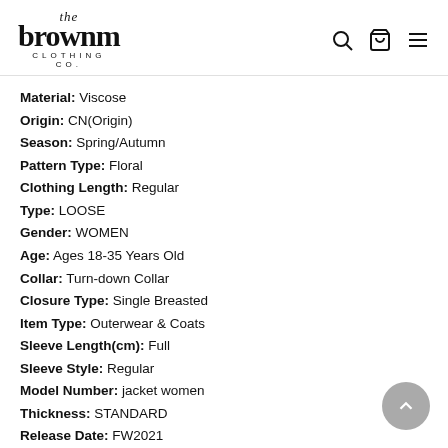[Figure (logo): The brownm Clothing Co. logo with cursive 'the' above bold serif 'brownm', with 'CLOTHING CO.' in small caps below]
Material: Viscose
Origin: CN(Origin)
Season: Spring/Autumn
Pattern Type: Floral
Clothing Length: Regular
Type: LOOSE
Gender: WOMEN
Age: Ages 18-35 Years Old
Collar: Turn-down Collar
Closure Type: Single Breasted
Item Type: Outerwear & Coats
Sleeve Length(cm): Full
Sleeve Style: Regular
Model Number: jacket women
Thickness: STANDARD
Release Date: FW2021
Outerwear Type: Jackets
Decoration: Tassel
Color: Blue Black